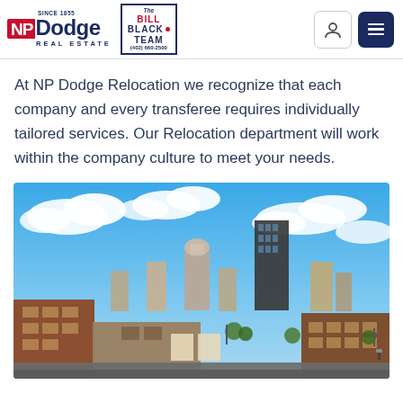NP Dodge Real Estate - Since 1855 | Bill Black Team (402) 660-2500
At NP Dodge Relocation we recognize that each company and every transferee requires individually tailored services. Our Relocation department will work within the company culture to meet your needs.
[Figure (photo): Aerial/elevated view of Omaha, Nebraska downtown skyline with brick buildings in foreground and modern skyscrapers against a blue sky with white clouds]